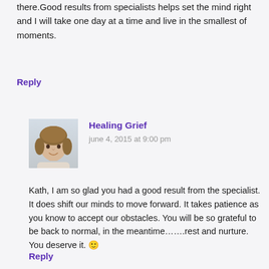there.Good results from specialists helps set the mind right and I will take one day at a time and live in the smallest of moments.
Reply
[Figure (photo): Avatar photo of Healing Grief commenter — woman with shoulder-length hair, light background]
Healing Grief
june 4, 2015 at 9:00 pm
Kath, I am so glad you had a good result from the specialist. It does shift our minds to move forward. It takes patience as you know to accept our obstacles. You will be so grateful to be back to normal, in the meantime…….rest and nurture. You deserve it. 🙂
Reply